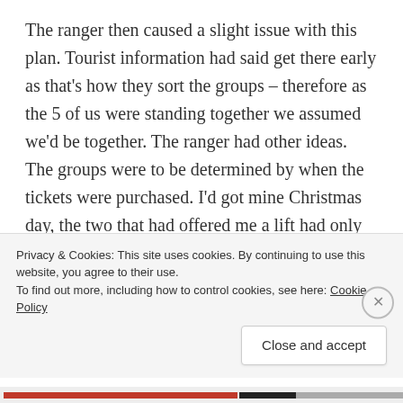The ranger then caused a slight issue with this plan. Tourist information had said get there early as that's how they sort the groups – therefore as the 5 of us were standing together we assumed we'd be together. The ranger had other ideas. The groups were to be determined by when the tickets were purchased. I'd got mine Christmas day, the two that had offered me a lift had only brought theirs last week. Somewhat miraculously the other two we'd been chatting to had two spares and got theirs on the 20th so as luck would have it we were all able to be in the same group. Good karma
Privacy & Cookies: This site uses cookies. By continuing to use this website, you agree to their use.
To find out more, including how to control cookies, see here: Cookie Policy
Close and accept